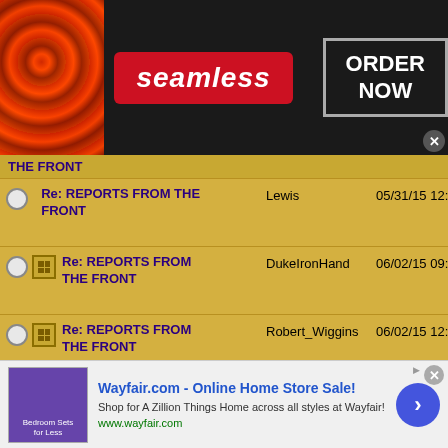[Figure (screenshot): Seamless food delivery advertisement banner with pizza image, red Seamless logo, and ORDER NOW button]
| Subject | Author | Date |
| --- | --- | --- |
| THE FRONT |  |  |
| Re: REPORTS FROM THE FRONT | Lewis | 05/31/15 12:54 AM |
| Re: REPORTS FROM THE FRONT | DukeIronHand | 06/02/15 09:01 AM |
| Re: REPORTS FROM THE FRONT | Robert_Wiggins | 06/02/15 12:33 PM |
| Re: REPORTS FROM THE FRONT | DukeIronHand | 06/04/15 07:45 AM |
| Re: REPORTS FROM THE FRONT | DukeIronHand | 06/04/15 07:49 PM |
| Re: REPORTS FROM THE FRONT | Banjoman | 06/04/15 08:22 PM |
[Figure (screenshot): Wayfair.com online home store advertisement with bedroom furniture image and shop button]